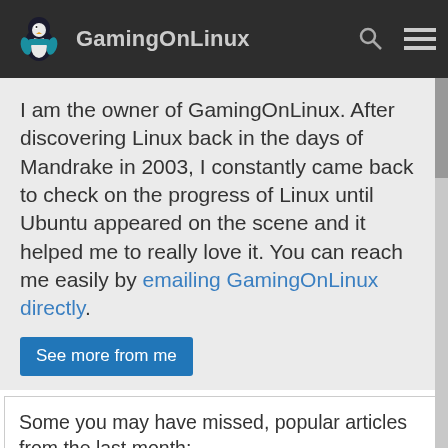GamingOnLinux
I am the owner of GamingOnLinux. After discovering Linux back in the days of Mandrake in 2003, I constantly came back to check on the progress of Linux until Ubuntu appeared on the scene and it helped me to really love it. You can reach me easily by emailing GamingOnLinux directly.
See more from me
Some you may have missed, popular articles from the last month:
CrossOver 22 released for running Windows apps and games on Linux
Futuristic drift-racer Neodash is out now on Steam and looks wild
SokoChess combines Chess with the Sokoban